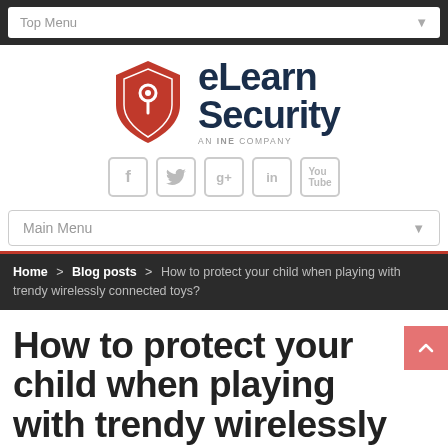Top Menu
[Figure (logo): eLearn Security logo - red shield with location pin icon, text 'eLearn Security' in dark navy, 'AN INE COMPANY' below]
[Figure (infographic): Social media icons: Facebook, Twitter, Google+, LinkedIn, YouTube - grey rounded square buttons]
Main Menu
Home > Blog posts > How to protect your child when playing with trendy wirelessly connected toys?
How to protect your child when playing with trendy wirelessly connected toys?